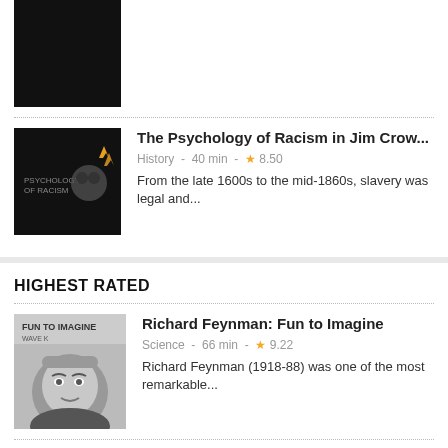[Figure (photo): Thumbnail of The Psychology of Racism book cover - dark/black background]
The Psychology of Racism in Jim Crow...
History - 40 min - ★ 8.50
From the late 1600s to the mid-1860s, slavery was legal and...
HIGHEST RATED
[Figure (photo): Black and white photo of Richard Feynman with 'Fun to Imagine' text overlay]
Richard Feynman: Fun to Imagine
Science - 66 min - ★ 9.22
Richard Feynman (1918-88) was one of the most remarkable...
[Figure (photo): Photo of person (Edward Snowden related)]
Terminal F: Chasing Edward Snowden
Politics - 58 min - ★ 9.12